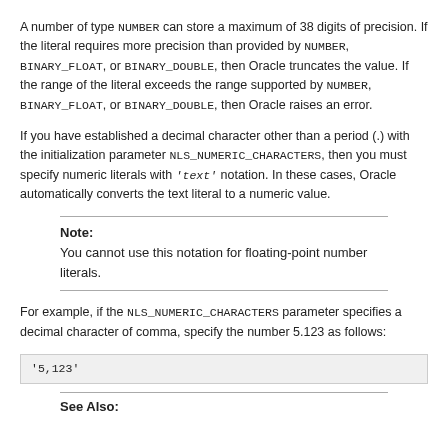A number of type NUMBER can store a maximum of 38 digits of precision. If the literal requires more precision than provided by NUMBER, BINARY_FLOAT, or BINARY_DOUBLE, then Oracle truncates the value. If the range of the literal exceeds the range supported by NUMBER, BINARY_FLOAT, or BINARY_DOUBLE, then Oracle raises an error.
If you have established a decimal character other than a period (.) with the initialization parameter NLS_NUMERIC_CHARACTERS, then you must specify numeric literals with 'text' notation. In these cases, Oracle automatically converts the text literal to a numeric value.
Note: You cannot use this notation for floating-point number literals.
For example, if the NLS_NUMERIC_CHARACTERS parameter specifies a decimal character of comma, specify the number 5.123 as follows:
'5,123'
See Also: